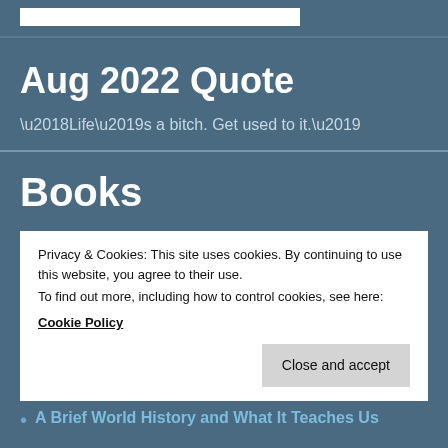[Figure (other): Search box / input field with white background at top of page]
Aug 2022 Quote
‘Life’s a bitch. Get used to it.’
Books
Privacy & Cookies: This site uses cookies. By continuing to use this website, you agree to their use.
To find out more, including how to control cookies, see here:
Cookie Policy
Close and accept
A Brief World History and What It Teaches Us